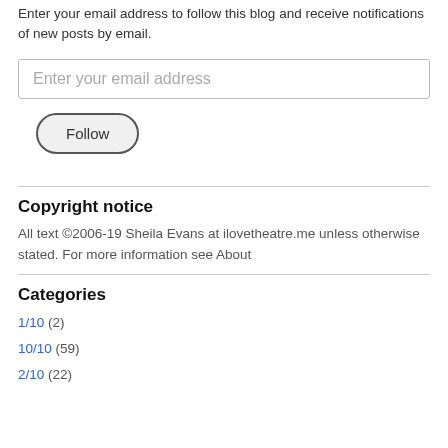Enter your email address to follow this blog and receive notifications of new posts by email.
[Figure (screenshot): Email input field with placeholder text 'Enter your email address']
[Figure (screenshot): Follow button with rounded pill shape]
Copyright notice
All text ©2006-19 Sheila Evans at ilovetheatre.me unless otherwise stated. For more information see About
Categories
1/10 (2)
10/10 (59)
2/10 (22)